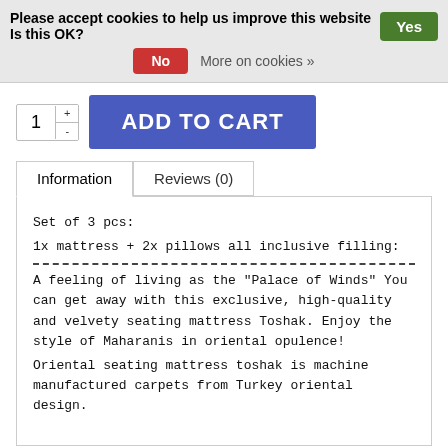Please accept cookies to help us improve this website Is this OK? Yes
No  More on cookies »
1  +  -  ADD TO CART
Information | Reviews (0)
Set of 3 pcs:
1x mattress + 2x pillows all inclusive filling:
----------------------------------------------
A feeling of living as the "Palace of Winds" You can get away with this exclusive, high-quality and velvety seating mattress Toshak. Enjoy the style of Maharanis in oriental opulence!
Oriental seating mattress toshak is machine manufactured carpets from Turkey oriental design.

scope of delivery: 1x Tosche incl. filling + 2x pcs cushions incl. filling
1 Mattress: 74.8" x 29.5" X 3.5" inch ( 190x75x9 cm )
2x cushions 27.5"x23.6" ( 75x60 cm)
Filling: foam